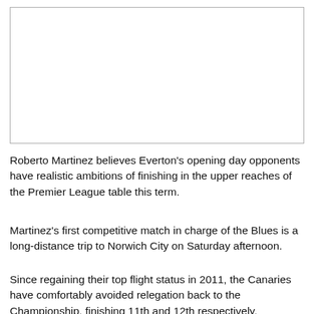[Figure (photo): Empty white image placeholder with border]
Roberto Martinez believes Everton's opening day opponents have realistic ambitions of finishing in the upper reaches of the Premier League table this term.
Martinez's first competitive match in charge of the Blues is a long-distance trip to Norwich City on Saturday afternoon.
Since regaining their top flight status in 2011, the Canaries have comfortably avoided relegation back to the Championship, finishing 11th and 12th respectively.